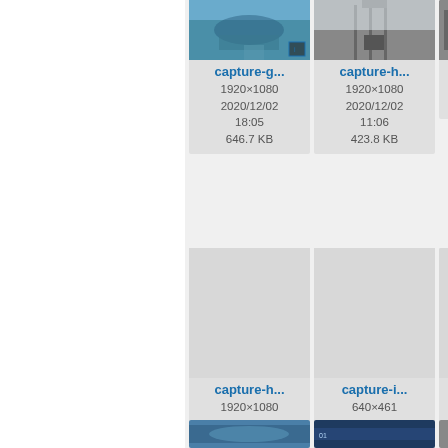[Figure (screenshot): File browser/gallery view showing image thumbnails in a grid layout with metadata]
capture-g...
1920×1080
2020/12/02
18:05
646.7 KB
capture-h...
1920×1080
2020/12/02
11:06
423.8 KB
ca...
3...
2...
capture-h...
1920×1080
2020/12/04
19:14
146.8 KB
capture-i...
640×461
2020/12/01
08:17
47.6 KB
ca...
1...
2...